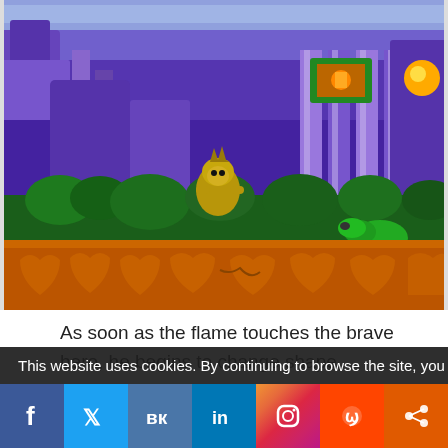[Figure (screenshot): Toki retro video game screenshot showing a jungle/cave level with purple rocky background, a Neanderthal ape character, green dinosaur enemy, and orange rocky ground foreground]
As soon as the flame touches the brave hero, he begins to change shape, becoming a lowly Neanderthal ape. You take control of Toki in his multi-stage quest. You begin on the outskirts of the jungle near the entrance to the lower caves of Bashtar's fortress. You are armed with a little magic of your own – the ability to spit small fireballs at your enemies. You must fight through the hordes of Bashtar's devilish minions, either stomping on them or...
This website uses cookies. By continuing to browse the site, you
[Figure (infographic): Social media share buttons row: Facebook, Twitter, VK, LinkedIn, Instagram, Reddit, Share]